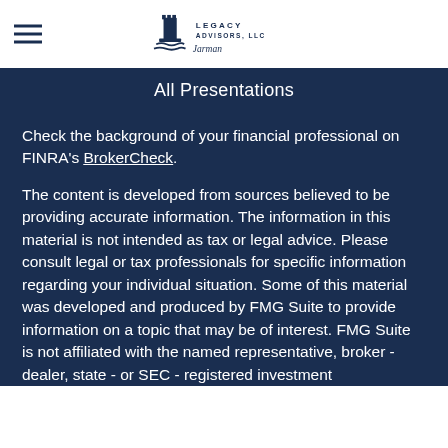Legacy Advisors LLC [logo]
All Presentations
Check the background of your financial professional on FINRA's BrokerCheck.
The content is developed from sources believed to be providing accurate information. The information in this material is not intended as tax or legal advice. Please consult legal or tax professionals for specific information regarding your individual situation. Some of this material was developed and produced by FMG Suite to provide information on a topic that may be of interest. FMG Suite is not affiliated with the named representative, broker - dealer, state - or SEC - registered investment adviser. The opinions expressed and material provided are for general information, and should not be considered a solicitation for the purchase or sale of any security.